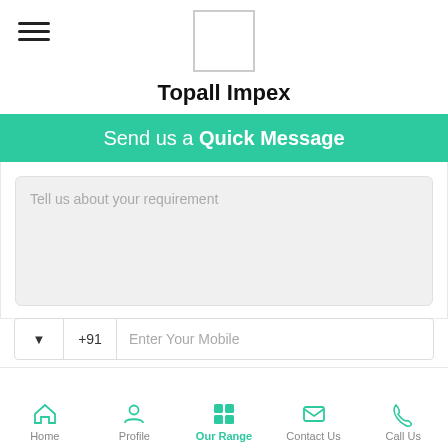[Figure (logo): Topall Impex company logo placeholder box]
Topall Impex
Send us a Quick Message
Tell us about your requirement
+91 Enter Your Mobile
Send
Home | Profile | Our Range | Contact Us | Call Us